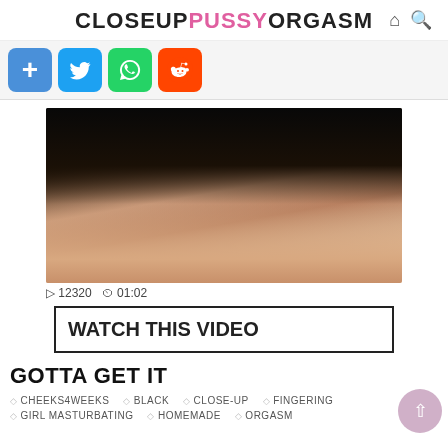CLOSEUPPUSSYORGASM
[Figure (screenshot): Social share buttons: add (+), Twitter, WhatsApp, Reddit]
[Figure (photo): Video thumbnail showing adult content]
▷ 12320 ⏱ 01:02
WATCH THIS VIDEO
GOTTA GET IT
CHEEKS4WEEKS   BLACK   CLOSE-UP   FINGERING
GIRL MASTURBATING   HOMEMADE   ORGASM